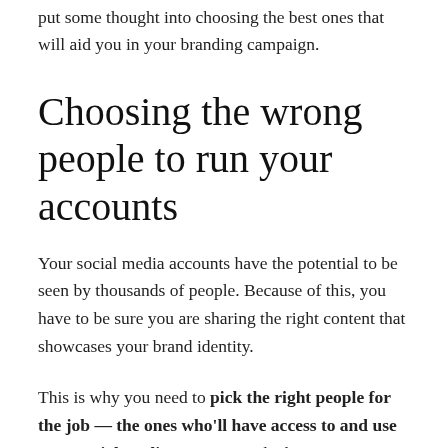put some thought into choosing the best ones that will aid you in your branding campaign.
Choosing the wrong people to run your accounts
Your social media accounts have the potential to be seen by thousands of people. Because of this, you have to be sure you are sharing the right content that showcases your brand identity.
This is why you need to pick the right people for the job — the ones who'll have access to and use your social media accounts. Whether you